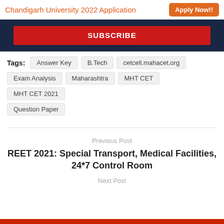Chandigarh University 2022 Application   Apply Now!!
[Figure (other): Dark navy blue banner with red SUBSCRIBE button in center]
Tags:  Answer Key  B.Tech  cetcell.mahacet.org  Exam Analysis  Maharashtra  MHT CET  MHT CET 2021  Question Paper
Previous Post
REET 2021: Special Transport, Medical Facilities, 24*7 Control Room
Next Post